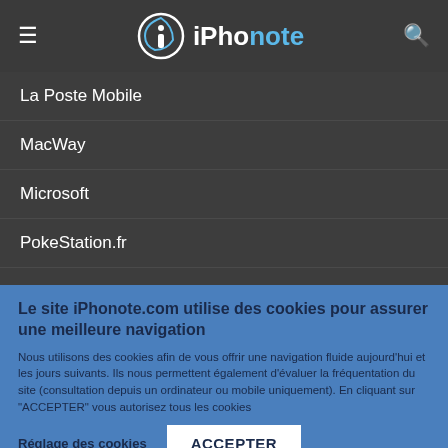iPhonote
La Poste Mobile
MacWay
Microsoft
PokeStation.fr
Rakuten
Le site iPhonote.com utilise des cookies pour assurer une meilleure navigation
Nous utilisons des cookies afin de vous offrir une navigation fluide aujourd'hui et les jours suivants. Ils nous permettent également d'évaluer la fréquentation du site (consultation depuis un ordinateur ou mobile uniquement). En cliquant sur "ACCEPTER" vous autorisez tous les cookies
Réglage des cookies   ACCEPTER